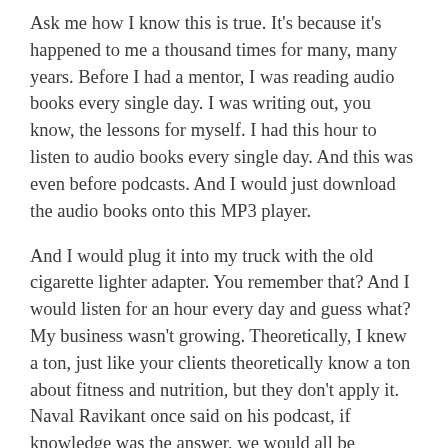Ask me how I know this is true. It's because it's happened to me a thousand times for many, many years. Before I had a mentor, I was reading audio books every single day. I was writing out, you know, the lessons for myself. I had this hour to listen to audio books every single day. And this was even before podcasts. And I would just download the audio books onto this MP3 player.
And I would plug it into my truck with the old cigarette lighter adapter. You remember that? And I would listen for an hour every day and guess what? My business wasn't growing. Theoretically, I knew a ton, just like your clients theoretically know a ton about fitness and nutrition, but they don't apply it. Naval Ravikant once said on his podcast, if knowledge was the answer, we would all be billionaires with six pack abs.